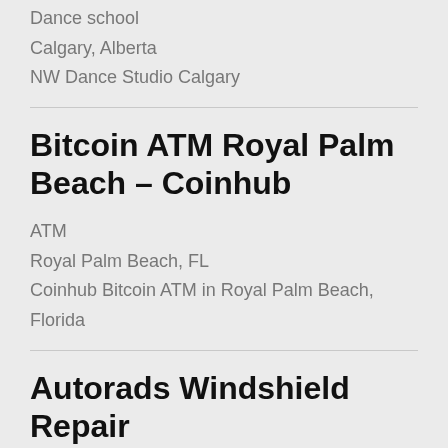Dance school
Calgary, Alberta
NW Dance Studio Calgary
Bitcoin ATM Royal Palm Beach – Coinhub
ATM
Royal Palm Beach, FL
Coinhub Bitcoin ATM in Royal Palm Beach, Florida
Autorads Windshield Repair
Glass repair service
Mesa, Arizona